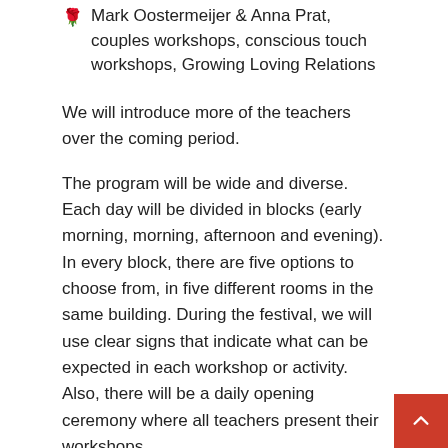🌹 Mark Oostermeijer & Anna Prat, couples workshops, conscious touch workshops, Growing Loving Relations
We will introduce more of the teachers over the coming period.
The program will be wide and diverse. Each day will be divided in blocks (early morning, morning, afternoon and evening). In every block, there are five options to choose from, in five different rooms in the same building. During the festival, we will use clear signs that indicate what can be expected in each workshop or activity. Also, there will be a daily opening ceremony where all teachers present their workshops.
Location
The festival will take place at the urban paradise